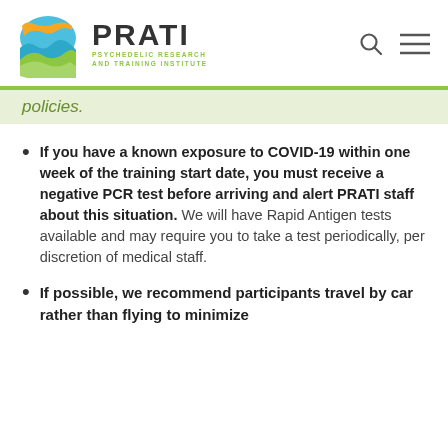PRATI — Psychedelic Research and Training Institute
policies.
If you have a known exposure to COVID-19 within one week of the training start date, you must receive a negative PCR test before arriving and alert PRATI staff about this situation. We will have Rapid Antigen tests available and may require you to take a test periodically, per discretion of medical staff.
If possible, we recommend participants travel by car rather than flying to minimize